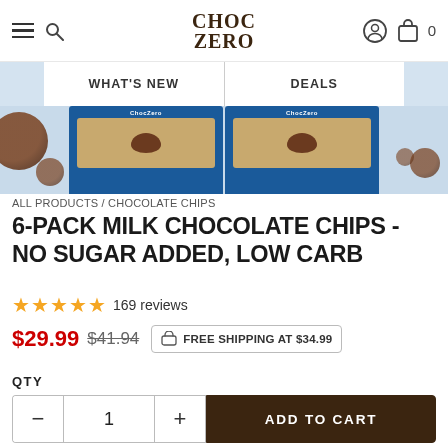CHOC ZERO
WHAT'S NEW  |  DEALS
[Figure (photo): Product image strip showing two 6-pack milk chocolate chip packages on a blue background with chocolate chips scattered around]
ALL PRODUCTS / CHOCOLATE CHIPS
6-PACK MILK CHOCOLATE CHIPS - NO SUGAR ADDED, LOW CARB
★★★★★ 169 reviews
$29.99  $41.94  FREE SHIPPING AT $34.99
QTY
— 1 +  ADD TO CART
Try our 6-pack bundle of our delicious keto milk